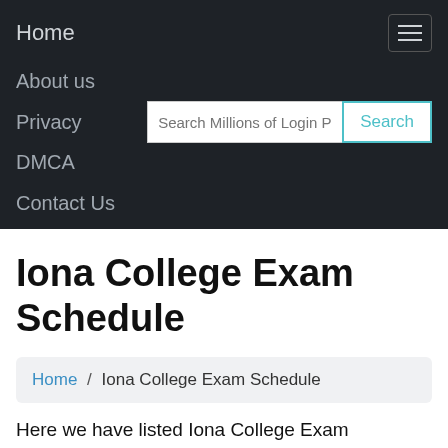Home
About us
Privacy
DMCA
Contact Us
Iona College Exam Schedule
Home / Iona College Exam Schedule
Here we have listed Iona College Exam Schedule portals, you can select the right Iona College Exam Schedule page from the below list, for you. We try to give the official...